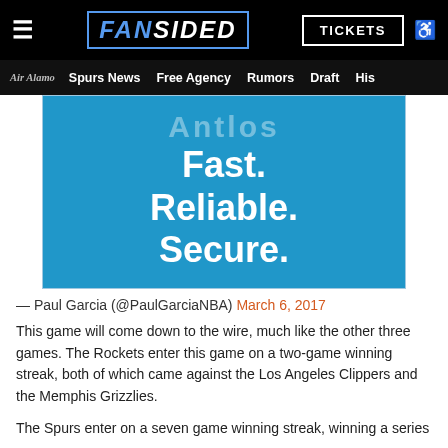FanSided | Air Alamo | Spurs News | Free Agency | Rumors | Draft | His
[Figure (illustration): Blue advertisement banner with bold white text reading 'Fast. Reliable. Secure.' with faded partial text at top]
— Paul Garcia (@PaulGarciaNBA) March 6, 2017
This game will come down to the wire, much like the other three games. The Rockets enter this game on a two-game winning streak, both of which came against the Los Angeles Clippers and the Memphis Grizzlies.
The Spurs enter on a seven game winning streak, winning a series